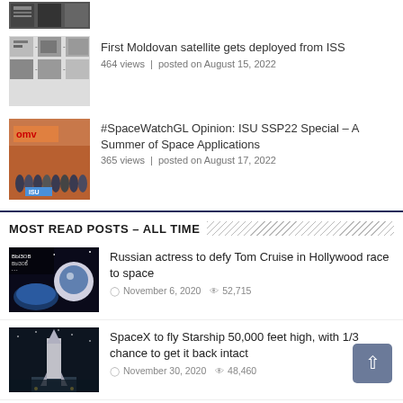[Figure (photo): Partial top thumbnail of satellite hardware]
[Figure (photo): Moldovan satellite collage of images]
First Moldovan satellite gets deployed from ISS
464 views | posted on August 15, 2022
[Figure (photo): Group photo in front of OMV building - ISU SSP22]
#SpaceWatchGL Opinion: ISU SSP22 Special – A Summer of Space Applications
365 views | posted on August 17, 2022
MOST READ POSTS – ALL TIME
[Figure (photo): Movie poster with astronaut and space scene]
Russian actress to defy Tom Cruise in Hollywood race to space
November 6, 2020  52,715
[Figure (photo): Starship rocket on launch pad at night]
SpaceX to fly Starship 50,000 feet high, with 1/3 chance to get it back intact
November 30, 2020  48,460